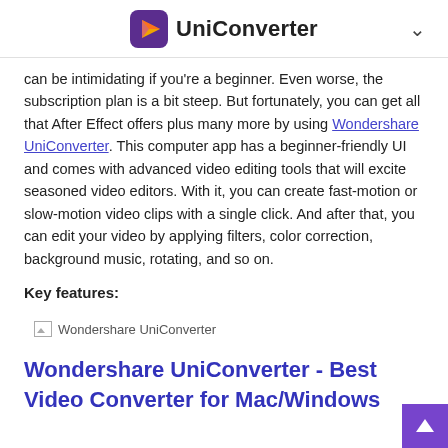UniConverter
can be intimidating if you're a beginner. Even worse, the subscription plan is a bit steep. But fortunately, you can get all that After Effect offers plus many more by using Wondershare UniConverter. This computer app has a beginner-friendly UI and comes with advanced video editing tools that will excite seasoned video editors. With it, you can create fast-motion or slow-motion video clips with a single click. And after that, you can edit your video by applying filters, color correction, background music, rotating, and so on.
Key features:
[Figure (screenshot): Wondershare UniConverter application screenshot placeholder]
Wondershare UniConverter - Best Video Converter for Mac/Windows